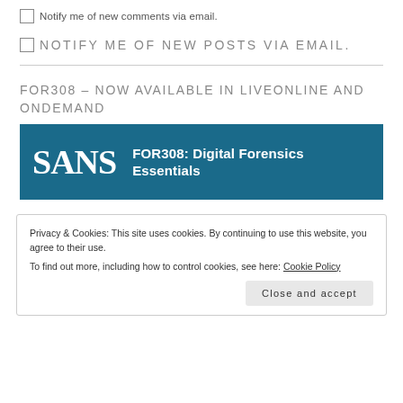Notify me of new comments via email.
NOTIFY ME OF NEW POSTS VIA EMAIL.
FOR308 – NOW AVAILABLE IN LIVEONLINE AND ONDEMAND
[Figure (illustration): SANS logo banner with text: FOR308: Digital Forensics Essentials on a teal/dark blue background]
Privacy & Cookies: This site uses cookies. By continuing to use this website, you agree to their use.
To find out more, including how to control cookies, see here: Cookie Policy
Close and accept